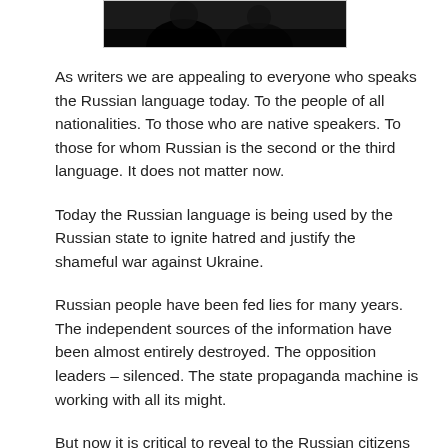[Figure (photo): Partial photograph showing dark silhouetted figures, mostly cropped, against a dark background]
As writers we are appealing to everyone who speaks the Russian language today. To the people of all nationalities. To those who are native speakers. To those for whom Russian is the second or the third language. It does not matter now.
Today the Russian language is being used by the Russian state to ignite hatred and justify the shameful war against Ukraine.
Russian people have been fed lies for many years. The independent sources of the information have been almost entirely destroyed. The opposition leaders – silenced. The state propaganda machine is working with all its might.
But now it is critical to reveal to the Russian citizens the full truth about the Russian aggression against Ukraine. About the suffering and losses of the Ukrainian nation. About civilians being targeted and killed. About the danger